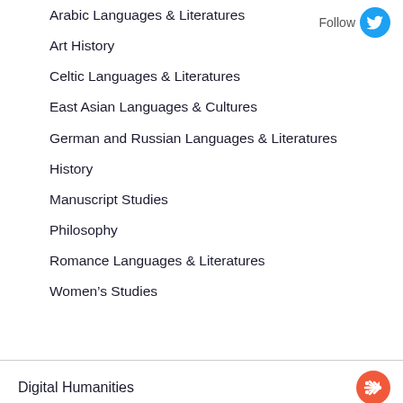Arabic Languages & Literatures
Art History
Celtic Languages & Literatures
East Asian Languages & Cultures
German and Russian Languages & Literatures
History
Manuscript Studies
Philosophy
Romance Languages & Literatures
Women’s Studies
Digital Humanities